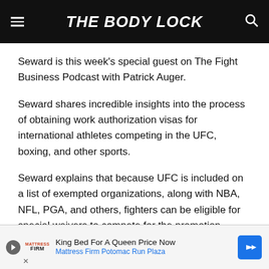THE BODY LOCK
Seward is this week's special guest on The Fight Business Podcast with Patrick Auger.
Seward shares incredible insights into the process of obtaining work authorization visas for international athletes competing in the UFC, boxing, and other sports.
Seward explains that because UFC is included on a list of exempted organizations, along with NBA, NFL, PGA, and others, fighters can be eligible for special waivers to compete for the promotion.
[Figure (other): Advertisement banner: Mattress Firm - King Bed For A Queen Price Now, Mattress Firm Potomac Run Plaza]